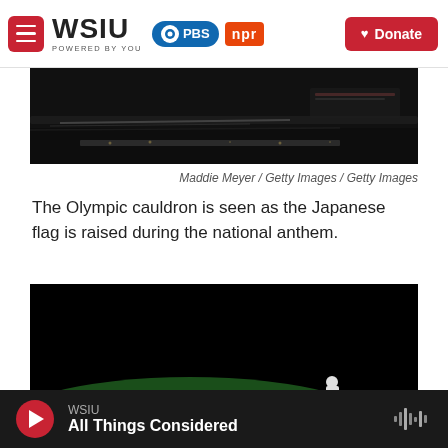WSIU POWERED BY YOU | PBS | npr | Donate
[Figure (photo): Dark nighttime photo of Olympic cauldron area and stadium with light streaks against dark background]
Maddie Meyer / Getty Images / Getty Images
The Olympic cauldron is seen as the Japanese flag is raised during the national anthem.
[Figure (photo): Dark nighttime photo of a lone figure in white standing on a green-lit field with a dramatic shadow cast to the left]
WSIU All Things Considered